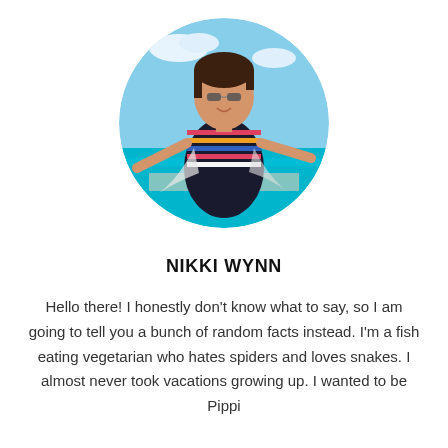[Figure (photo): Circular cropped photo of a woman wearing sunglasses and a striped top, with arms outstretched, on a boat with turquoise water and blue sky in the background.]
NIKKI WYNN
Hello there! I honestly don't know what to say, so I am going to tell you a bunch of random facts instead. I'm a fish eating vegetarian who hates spiders and loves snakes. I almost never took vacations growing up. I wanted to be Pippi